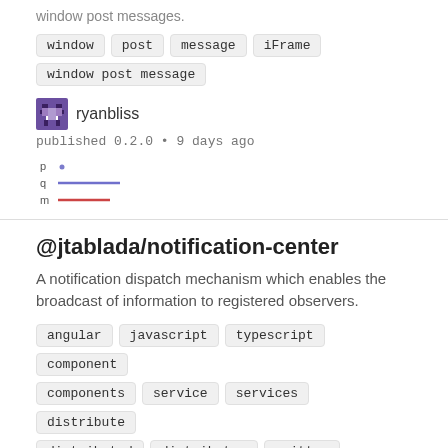window post messages.
window  post  message  iFrame
window post message
ryanbliss
published 0.2.0 • 9 days ago
[Figure (other): Sparkline chart with three rows labeled p, q, m showing colored lines (blue dot, purple line, red line)]
@jtablada/notification-center
A notification dispatch mechanism which enables the broadcast of information to registered observers.
angular  javascript  typescript  component
components  service  services  distribute
distributed  distributes  emitter  emitters
event  events  View more